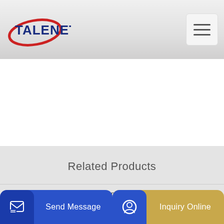[Figure (logo): Talenet company logo with red swoosh and blue bold text TALENET]
[Figure (screenshot): Hamburger menu button icon with three horizontal lines]
Related Products
conele planetary concrete mixer Production workshop
Ready Mix Concrete Concrete Pumping Foam
n kitti
Send Message
Inquiry Online